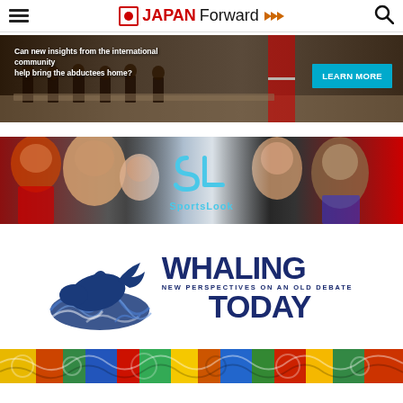JAPAN Forward
[Figure (photo): Advertisement banner: Text reads 'Can new insights from the international community help bring the abductees home?' with a LEARN MORE button, showing people seated at a conference table with Japanese flag visible]
[Figure (logo): SportsLook advertisement banner with SL logo in cyan/blue on dark background with sports athletes photos on sides]
[Figure (logo): Whaling Today logo: whale tail graphic with wave design and text 'WHALING TODAY - NEW PERSPECTIVES ON AN OLD DEBATE' in dark navy blue]
[Figure (photo): Bottom strip showing colorful artistic/illustrated image with bright colors]